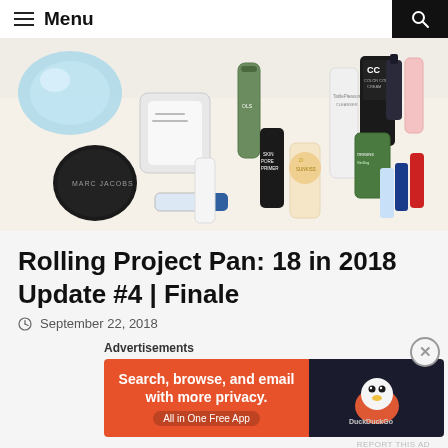Menu
[Figure (photo): Flatlay photo of various cosmetics and beauty products including Marc Jacobs compact, CC cream, skincare tubes and bottles on a light surface]
Rolling Project Pan: 18 in 2018 Update #4 | Finale
September 22, 2018
Advertisements
[Figure (screenshot): DuckDuckGo advertisement banner: Search, browse, and email with more privacy. All in One Free App]